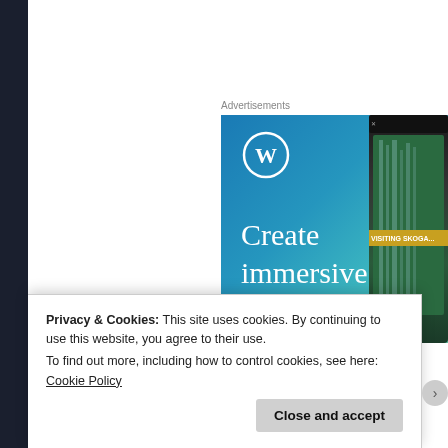[Figure (screenshot): WordPress advertisement banner with blue-green gradient background, WordPress logo (W in circle), text 'Create immersive stories.' in white serif font, and a phone mockup on the right showing 'VISITING SKOGA' waterfall scene]
Advertisements
Privacy & Cookies: This site uses cookies. By continuing to use this website, you agree to their use.
To find out more, including how to control cookies, see here: Cookie Policy
Close and accept